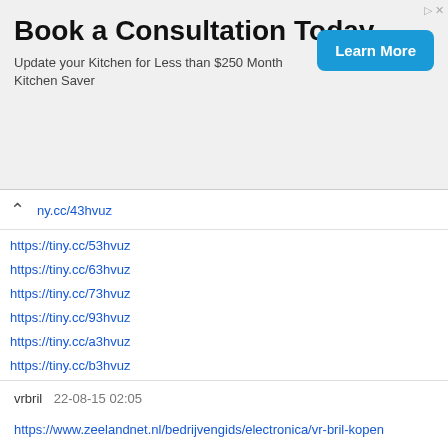[Figure (screenshot): Advertisement banner: 'Book a Consultation Today' with 'Update your Kitchen for Less than $250 Month Kitchen Saver' and a blue 'Learn More' button]
ny.cc/43hvuz (partially visible, top)
https://tiny.cc/53hvuz
https://tiny.cc/63hvuz
https://tiny.cc/73hvuz
https://tiny.cc/93hvuz
https://tiny.cc/a3hvuz
https://tiny.cc/b3hvuz
https://tiny.cc/c3hvuz
http://poredak.netfreehost.com/poredak-post-4391346.html
https://s.id/1eCiA
http://gg.gg/11zi3n
https://www.banan.cz/forum?f=134&t=2&km=d#kom_1063
https://s.id/1eCiD
http://gg.gg/11zi3o
vrbril  22-08-15 02:05
https://www.zeelandnet.nl/bedrijvengids/electronica/vr-bril-kopen